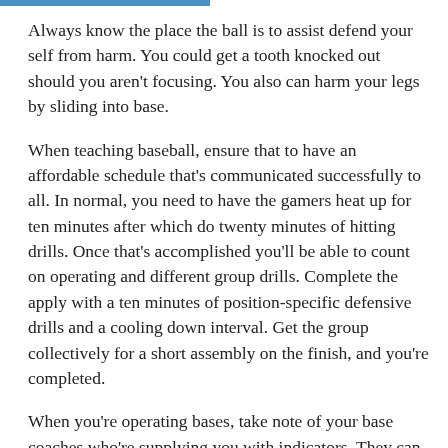Always know the place the ball is to assist defend your self from harm. You could get a tooth knocked out should you aren't focusing. You also can harm your legs by sliding into base.
When teaching baseball, ensure that to have an affordable schedule that's communicated successfully to all. In normal, you need to have the gamers heat up for ten minutes after which do twenty minutes of hitting drills. Once that's accomplished you'll be able to count on operating and different group drills. Complete the apply with a ten minutes of position-specific defensive drills and a cooling down interval. Get the group collectively for a short assembly on the finish, and you're completed.
When you're operating bases, take note of your base coaches who're supplying you with indicators. They can see the complete subject. As you run the bases, preserve your deal with the coaches and never the ball. Let them be your eyes. If the coaches